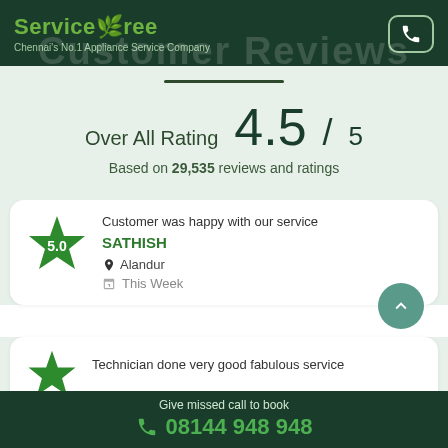ServiceTree — Chennai's No.1 Appliance Service Company
Customer Reviews
Over All Rating 4.5/5
Based on 29,535 reviews and ratings
5.0 — Customer was happy with our service — SATHISH — Alandur — This Week
Technician done very good fabulous service
Give missed call to book 08144 948 948